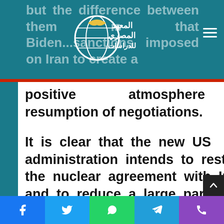المعهد المصري للدراسات (Egyptian Institute for Studies) — website header with logo and navigation
but the difference between them is that Biden...sanctions imposed on Iran to create a positive atmosphere for resumption of negotiations.
It is clear that the new US administration intends to restore the nuclear agreement with Iran and to reduce a large part of the sanctions on it in order to launch negotiations on updating and extending the agreement in return
Social share buttons: Facebook, Twitter, WhatsApp, Telegram, Phone